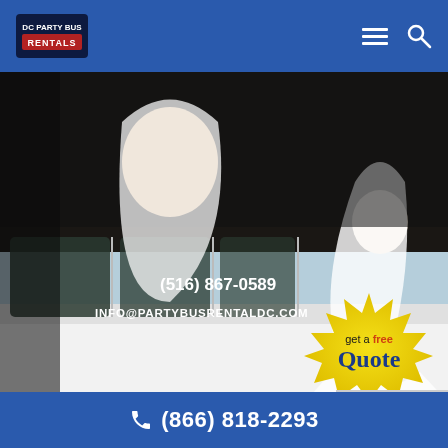DC Party Bus Rentals — navigation bar with logo, hamburger menu, and search icon
[Figure (photo): Wedding limousine promotional image: bride in veil leaning out of car window (top left), DC Party Bus Rentals logo, phone number (516) 867-0589, email INFO@PARTYBUSRENTALDC.COM, and large background image of bride in wedding dress standing beside a white limousine. 'get a free Quote' starburst badge overlaid bottom-right.]
How Can an Alexandria VA Limousine Service Be Extra Special for a Wedding?
July 26, 2017
(866) 818-2293